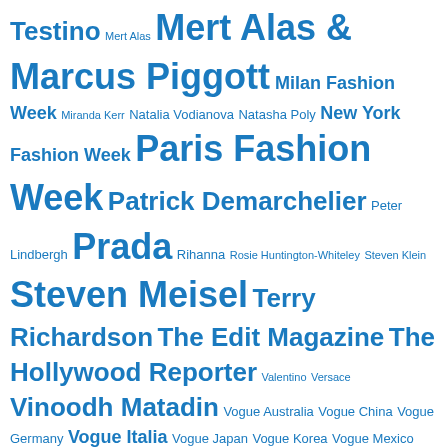[Figure (infographic): Tag cloud of fashion-related terms in various sizes rendered in blue text, including: Testino, Mert Alas, Mert Alas & Marcus Piggott, Milan Fashion Week, Miranda Kerr, Natalia Vodianova, Natasha Poly, New York Fashion Week, Paris Fashion Week, Patrick Demarchelier, Peter Lindbergh, Prada, Rihanna, Rosie Huntington-Whiteley, Steven Klein, Steven Meisel, Terry Richardson, The Edit Magazine, The Hollywood Reporter, Valentino, Versace, Vinoodh Matadin, Vogue Australia, Vogue China, Vogue Germany, Vogue Italia, Vogue Japan, Vogue Korea, Vogue Mexico, Vogue Paris, Vogue Portugal, Vogue Russia, Vogue Spain, Vogue UK, Vogue US, Willy Vanderperre, W Magazine]